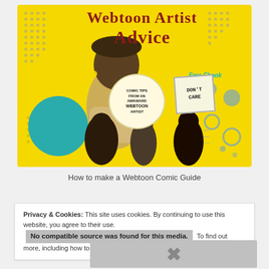[Figure (illustration): Webtoon Artist Advice book cover — yellow background with decorative dot patterns, teal circle, cartoon characters, speech bubble reading 'COMIC TIPS FROM AN AWKWARD WEBTOON ARTIST', a 'DON'T CARE' sign, and 'Free Ebook' label in teal text.]
How to make a Webtoon Comic Guide
Privacy & Cookies: This site uses cookies. By continuing to use this website, you agree to their use. To find out more, including how to control cookies, see here: Cookie Policy
No compatible source was found for this media.